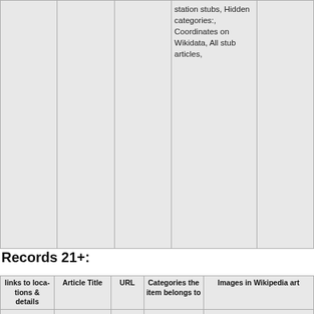|  |  |  | station stubs, Hidden categories:, Coordinates on Wikidata, All stub articles, |  |
Records 21+:
| links to loca-tions & details | Article Title | URL | Categories the item belongs to | Images in Wikipedia art |
| --- | --- | --- | --- | --- |